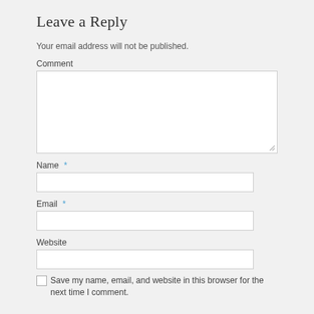Leave a Reply
Your email address will not be published.
Comment
Name *
Email *
Website
Save my name, email, and website in this browser for the next time I comment.